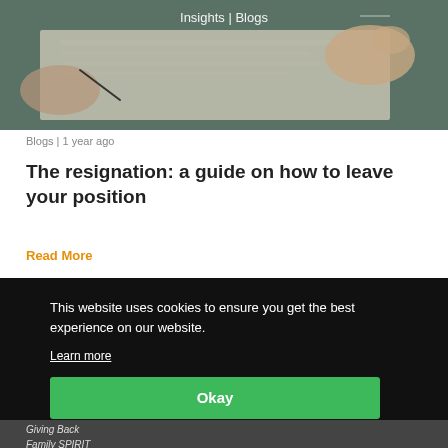[Figure (photo): Photo of hands writing on paper with a pen, used as a hero/banner image for a blog post about resignation. Text 'Insights | Blogs' overlaid at the top center.]
Blogs | 1 year ago
The resignation: a guide on how to leave your position
Read More
This website uses cookies to ensure you get the best experience on our website.
Learn more
Okay
Giving Back
Family SPIRIT